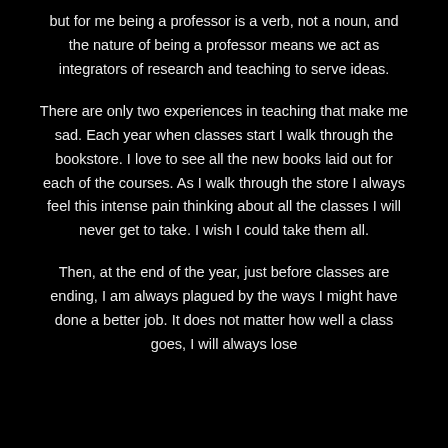but for me being a professor is a verb, not a noun, and the nature of being a professor means we act as integrators of research and teaching to serve ideas.
There are only two experiences in teaching that make me sad. Each year when classes start I walk through the bookstore. I love to see all the new books laid out for each of the courses. As I walk through the store I always feel this intense pain thinking about all the classes I will never get to take. I wish I could take them all.
Then, at the end of the year, just before classes are ending, I am always plagued by the ways I might have done a better job. It does not matter how well a class goes, I will always lose